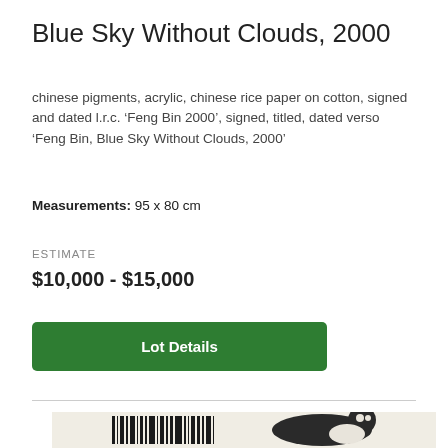Blue Sky Without Clouds, 2000
chinese pigments, acrylic, chinese rice paper on cotton, signed and dated l.r.c. ‘Feng Bin 2000’, signed, titled, dated verso ‘Feng Bin, Blue Sky Without Clouds, 2000’
Measurements: 95 x 80 cm
ESTIMATE
$10,000 - $15,000
Lot Details
[Figure (photo): Artwork image showing a barcode design with an animal (appears to be a leopard or cheetah) partially visible, on a cream/beige background]